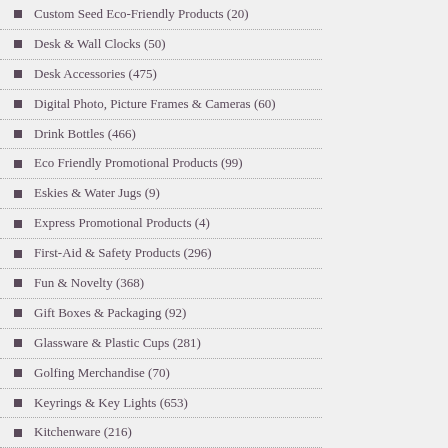Custom Seed Eco-Friendly Products (20)
Desk & Wall Clocks (50)
Desk Accessories (475)
Digital Photo, Picture Frames & Cameras (60)
Drink Bottles (466)
Eco Friendly Promotional Products (99)
Eskies & Water Jugs (9)
Express Promotional Products (4)
First-Aid & Safety Products (296)
Fun & Novelty (368)
Gift Boxes & Packaging (92)
Glassware & Plastic Cups (281)
Golfing Merchandise (70)
Keyrings & Key Lights (653)
Kitchenware (216)
Lanyards Custom Printed and Pouches (180)
Leatherman Multi Tools Custom Branded (52)